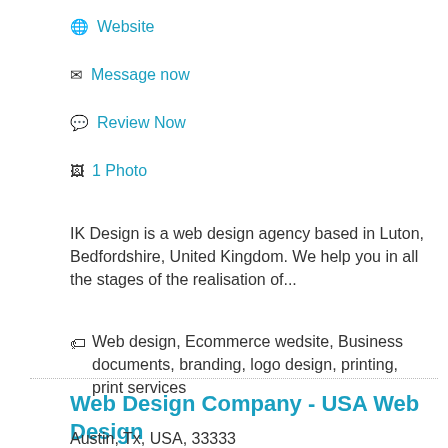Website
Message now
Review Now
1 Photo
IK Design is a web design agency based in Luton, Bedfordshire, United Kingdom. We help you in all the stages of the realisation of...
Web design, Ecommerce wedsite, Business documents, branding, logo design, printing, print services
Web Design Company - USA Web Design Express  Is this your business? Claim now!
Austin, Tx, USA, 33333